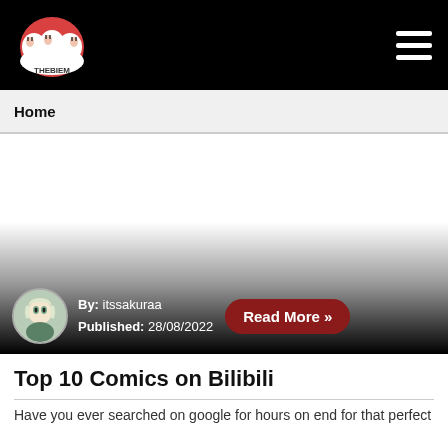THEBIEM — navigation header with logo and hamburger menu
Home
[Figure (screenshot): Hero image area with white-to-black gradient background representing a banner image]
By: itssakuraa
Published: 28/08/2022
Read More »
Top 10 Comics on Bilibili
Have you ever searched on google for hours on end for that perfect